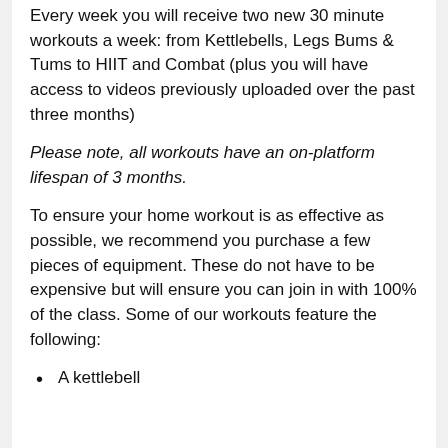Every week you will receive two new 30 minute workouts a week: from Kettlebells, Legs Bums & Tums to HIIT and Combat (plus you will have access to videos previously uploaded over the past three months)
Please note, all workouts have an on-platform lifespan of 3 months.
To ensure your home workout is as effective as possible, we recommend you purchase a few pieces of equipment. These do not have to be expensive but will ensure you can join in with 100% of the class. Some of our workouts feature the following:
A kettlebell